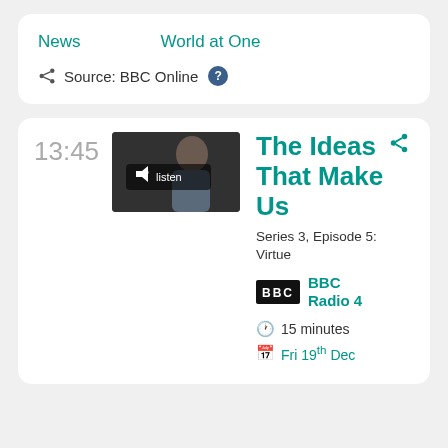News   World at One
Source: BBC Online ?
13:45
[Figure (photo): Thumbnail image of a woman with dark hair, darkened overlay with a listen button showing speaker icon and text 'listen']
The Ideas That Make Us
Series 3, Episode 5: Virtue
[Figure (logo): BBC logo in white text on black background]
BBC Radio 4
15 minutes
Fri 19th Dec